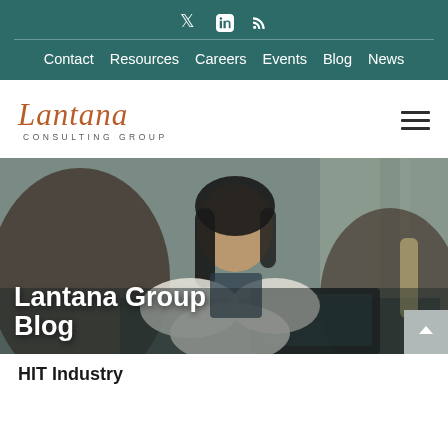Social icons: Twitter, LinkedIn, RSS
Contact   Resources   Careers   Events   Blog   News
[Figure (logo): Lantana Consulting Group logo with script text 'Lantana' in orange/rust color and 'CONSULTING GROUP' in small caps below]
[Figure (photo): Woman with dark hair sitting in a leather chair at a desk with a laptop, looking thoughtful, in a formal meeting room setting]
Lantana Group Blog
HIT Industry